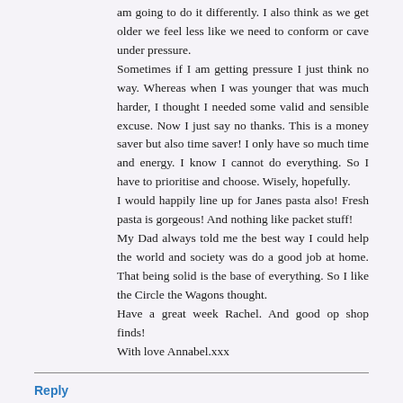am going to do it differently. I also think as we get older we feel less like we need to conform or cave under pressure.
Sometimes if I am getting pressure I just think no way. Whereas when I was younger that was much harder, I thought I needed some valid and sensible excuse. Now I just say no thanks. This is a money saver but also time saver! I only have so much time and energy. I know I cannot do everything. So I have to prioritise and choose. Wisely, hopefully.
I would happily line up for Janes pasta also! Fresh pasta is gorgeous! And nothing like packet stuff!
My Dad always told me the best way I could help the world and society was do a good job at home. That being solid is the base of everything. So I like the Circle the Wagons thought.
Have a great week Rachel. And good op shop finds!
With love Annabel.xxx
Reply